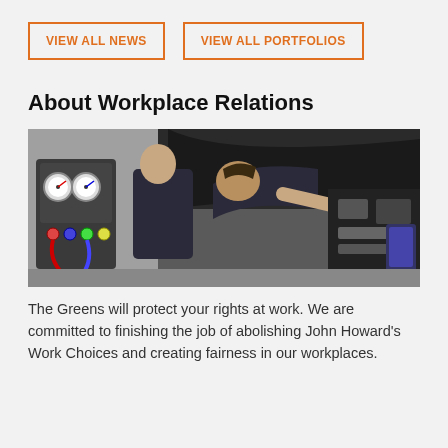VIEW ALL NEWS
VIEW ALL PORTFOLIOS
About Workplace Relations
[Figure (photo): Two mechanics in dark t-shirts leaning over the open hood of a car in a garage, with a refrigerant manifold gauge set visible on the left side.]
The Greens will protect your rights at work. We are committed to finishing the job of abolishing John Howard's Work Choices and creating fairness in our workplaces.